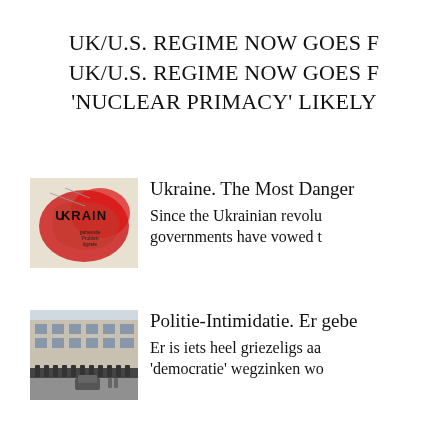UK/U.S. REGIME NOW GOES F UK/U.S. REGIME NOW GOES F 'NUCLEAR PRIMACY' LIKELY
[Figure (photo): Book or magazine cover with red and black graphic depicting Ukraine map with text 'UKRAINE' and subtitle text visible]
Ukraine. The Most Danger
Since the Ukrainian revolu governments have vowed t
[Figure (photo): Photograph of police in riot gear standing in front of a large classical building, with people and a car visible]
Politie-Intimidatie. Er gebe
Er is iets heel griezeligs aa 'democratie' wegzinken wo